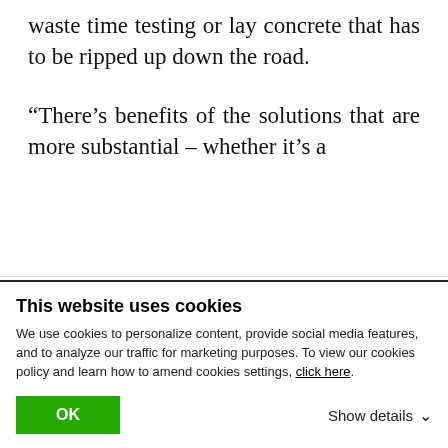waste time testing or lay concrete that has to be ripped up down the road.
“There’s benefits of the solutions that are more substantial – whether it’s a
at the end of the day, more so than anything, the solution allows us to deliver a quality-consistent product with having the data readily available to
This website uses cookies
We use cookies to personalize content, provide social media features, and to analyze our traffic for marketing purposes. To view our cookies policy and learn how to amend cookies settings, click here.
OK  Show details